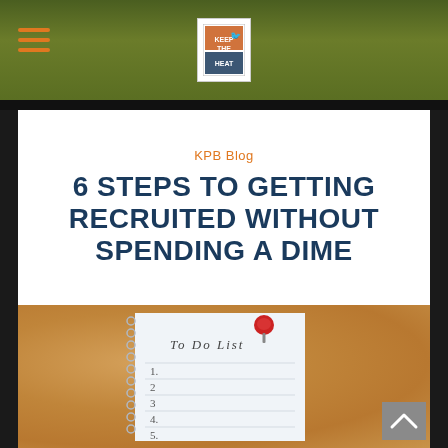KPB Blog header with hamburger menu and logo
KPB Blog
6 STEPS TO GETTING RECRUITED WITHOUT SPENDING A DIME
[Figure (photo): Cork bulletin board with a white to-do list notepad pinned by a red pushpin. The notepad shows 'To Do List' as heading with numbered lines 1 through 5.]